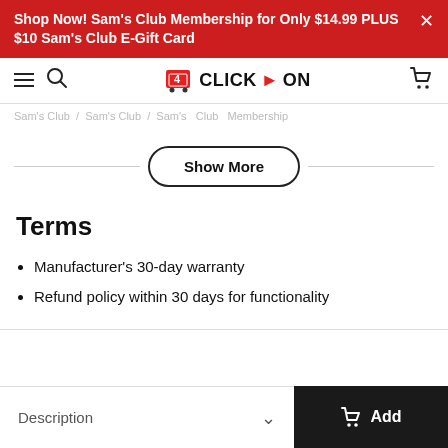Shop Now! Sam's Club Membership for Only $14.99 PLUS $10 Sam's Club E-Gift Card
CLICK ON
Show More
Terms
Manufacturer's 30-day warranty
Refund policy within 30 days for functionality
Description
Add